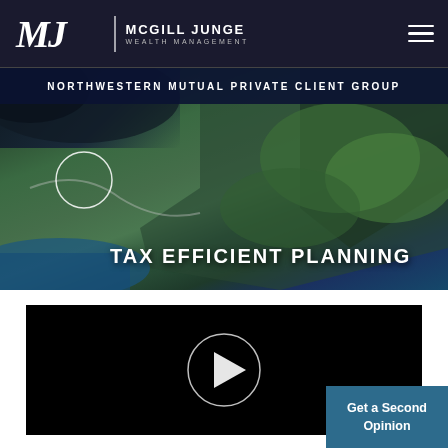McGill Junge Wealth Management | Northwestern Mutual Private Client Group
TAX EFFICIENT PLANNING
[Figure (screenshot): Video player with black background and circular play button in center]
Get a Second Opinion